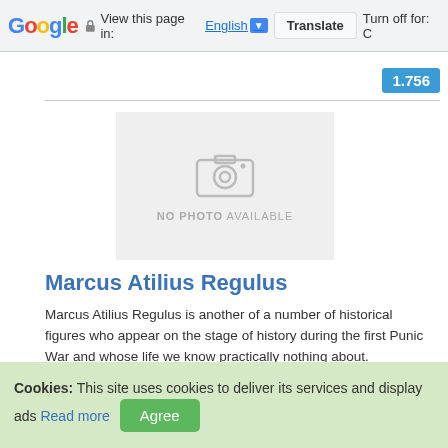Google | View this page in: English [▼] | Translate | Turn off for: C
1.756
[Figure (photo): No photo available placeholder with camera icon]
Marcus Atilius Regulus
Marcus Atilius Regulus is another of a number of historical figures who appear on the stage of history during the first Punic War and whose life we know practically nothing about.
Cookies: This site uses cookies to deliver its services and display ads Read more Agree